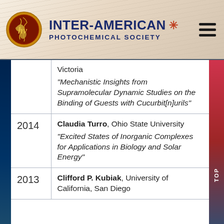[Figure (logo): Inter-American Photochemical Society logo with globe and hv symbol in orange/gold circle]
INTER-AMERICAN PHOTOCHEMICAL SOCIETY
| Year | Presenter & Talk |
| --- | --- |
|  | Victoria "Mechanistic Insights from Supramolecular Dynamic Studies on the Binding of Guests with Cucurbit[n]urils" |
| 2014 | Claudia Turro, Ohio State University "Excited States of Inorganic Complexes for Applications in Biology and Solar Energy" |
| 2013 | Clifford P. Kubiak, University of California, San Diego |